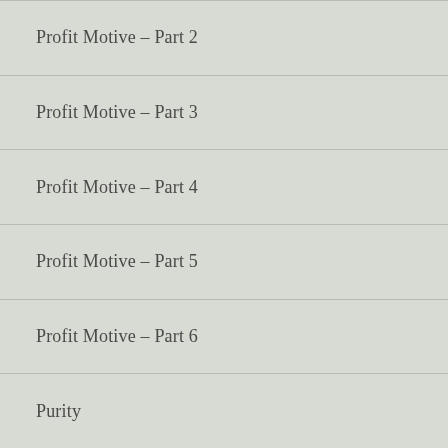Profit Motive – Part 2
Profit Motive – Part 3
Profit Motive – Part 4
Profit Motive – Part 5
Profit Motive – Part 6
Purity